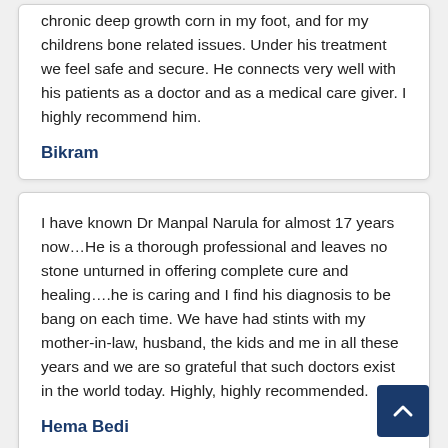chronic deep growth corn in my foot, and for my childrens bone related issues. Under his treatment we feel safe and secure. He connects very well with his patients as a doctor and as a medical care giver. I highly recommend him.
Bikram
I have known Dr Manpal Narula for almost 17 years now...He is a thorough professional and leaves no stone unturned in offering complete cure and healing....he is caring and I find his diagnosis to be bang on each time. We have had stints with my mother-in-law, husband, the kids and me in all these years and we are so grateful that such doctors exist in the world today. Highly, highly recommended.
Hema Bedi